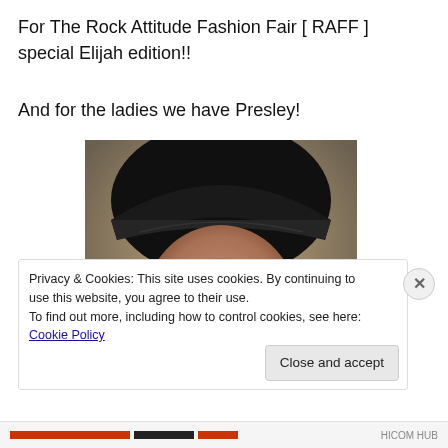For The Rock Attitude Fashion Fair [ RAFF ] special Elijah edition!!
And for the ladies we have Presley!
[Figure (illustration): Close-up portrait of a male virtual avatar wearing a black cap with long dark hair, greenish eyes, nose ring, earring and a goatee beard, rendered in a 3D digital art style.]
Privacy & Cookies: This site uses cookies. By continuing to use this website, you agree to their use.
To find out more, including how to control cookies, see here: Cookie Policy
Close and accept